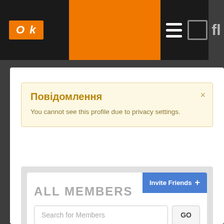[Figure (screenshot): Social network website screenshot showing navigation bar with 'Ok' logo in orange box, orange section, hamburger menu, and other nav icons on dark background]
Повідомлення
You cannot see this profile due to privacy settings.
ALL MEMBERS
Invite Friends +
Search for Members
GO